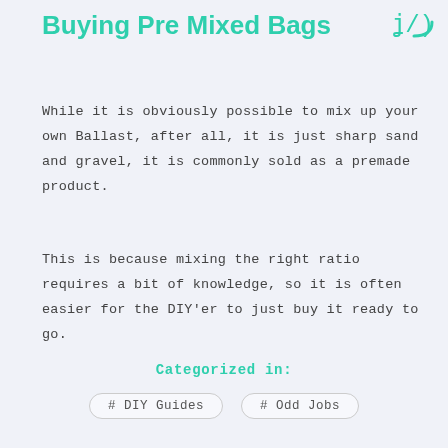Buying Pre Mixed Bags
While it is obviously possible to mix up your own Ballast, after all, it is just sharp sand and gravel, it is commonly sold as a premade product.
This is because mixing the right ratio requires a bit of knowledge, so it is often easier for the DIY'er to just buy it ready to go.
Categorized in:
# DIY Guides
# Odd Jobs